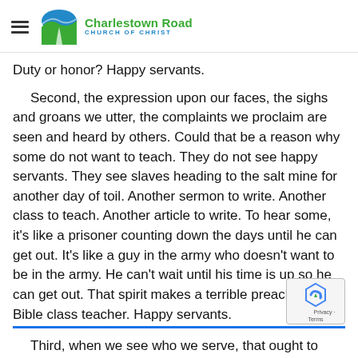Charlestown Road CHURCH OF CHRIST
Duty or honor? Happy servants.
Second, the expression upon our faces, the sighs and groans we utter, the complaints we proclaim are seen and heard by others. Could that be a reason why some do not want to teach. They do not see happy servants. They see slaves heading to the salt mine for another day of toil. Another sermon to write. Another class to teach. Another article to write. To hear some, it’s like a prisoner counting down the days until he can get out. It’s like a guy in the army who doesn’t want to be in the army. He can’t wait until his time is up so he can get out. That spirit makes a terrible preacher or Bible class teacher. Happy servants.
Third, when we see who we serve, that ought to bring joy and